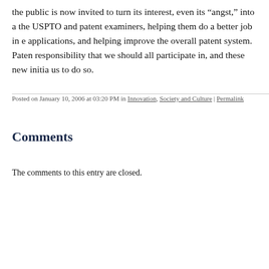the public is now invited to turn its interest, even its “angst,” into a the USPTO and patent examiners, helping them do a better job in e applications, and helping improve the overall patent system.  Paten responsibility that we should all participate in, and these new initia us to do so.
Posted on January 10, 2006 at 03:20 PM in Innovation, Society and Culture | Permalink
Comments
The comments to this entry are closed.